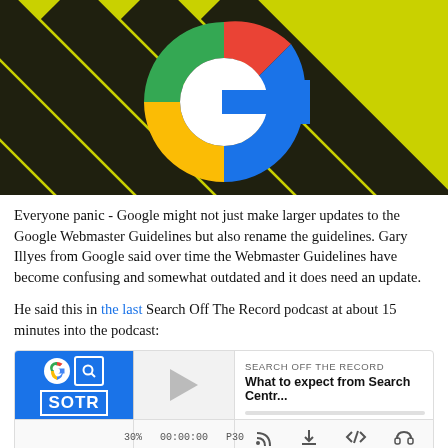[Figure (illustration): Google logo 'G' icon on a yellow and black diagonal warning stripe background]
Everyone panic - Google might not just make larger updates to the Google Webmaster Guidelines but also rename the guidelines. Gary Illyes from Google said over time the Webmaster Guidelines have become confusing and somewhat outdated and it does need an update.
He said this in the last Search Off The Record podcast at about 15 minutes into the podcast:
[Figure (screenshot): Embedded podcast player widget for 'Search Off The Record' showing episode 'What to expect from Search Centr...' with play button, time display '30% 00:00:00 P30' and icons for RSS, download, code embed, and headphones]